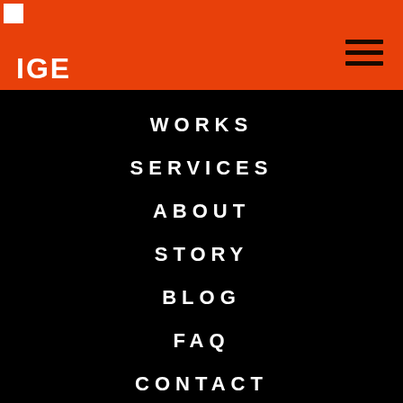IGE
WORKS
SERVICES
ABOUT
STORY
BLOG
FAQ
CONTACT
SITEMAP